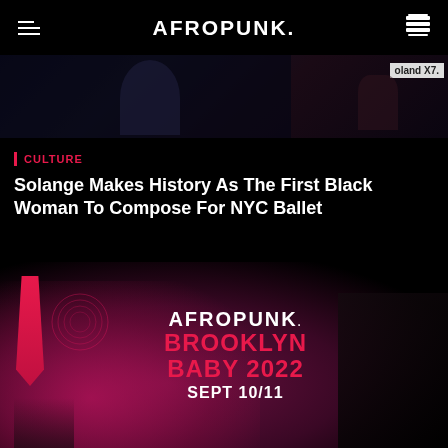AFROPUNK.
[Figure (photo): Dark concert/music scene photo with Roland X7 keyboard visible at right edge]
CULTURE
Solange Makes History As The First Black Woman To Compose For NYC Ballet
[Figure (photo): Afropunk Brooklyn Baby 2022 Sept 10/11 promotional image with pink smoke, performer silhouette, and pink triangle banner]